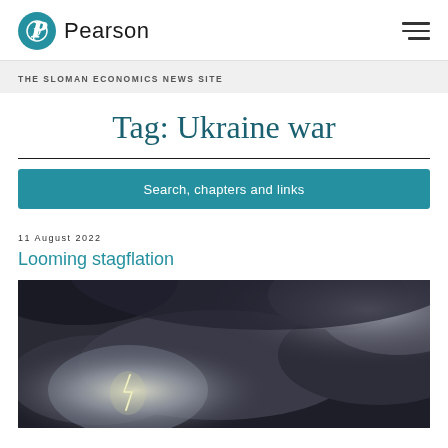Pearson logo and navigation
THE SLOMAN ECONOMICS NEWS SITE
Tag: Ukraine war
Search, chapters and links
11 August 2022
Looming stagflation
[Figure (photo): Dark stormy sky with lightning bolt visible through clouds]